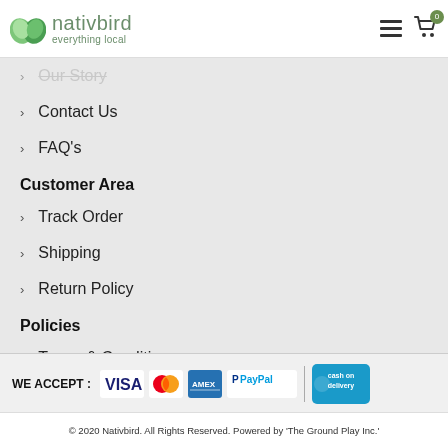[Figure (logo): Nativbird logo with green leaf icon and tagline 'everything local']
Our Story
Contact Us
FAQ's
Customer Area
Track Order
Shipping
Return Policy
Policies
Terms & Conditions
Privacy
[Figure (infographic): We Accept payment logos: VISA, Mastercard, American Express, PayPal, Cash on Delivery]
© 2020 Nativbird. All Rights Reserved. Powered by 'The Ground Play Inc.'